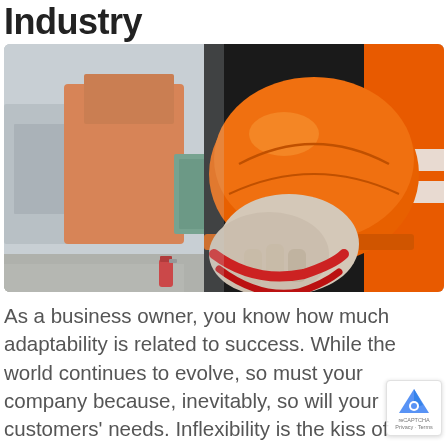Industry
[Figure (photo): Construction worker in orange high-visibility vest holding an orange hard hat with gloved hands at a worksite with blurred orange heavy machinery in the background]
As a business owner, you know how much adaptability is related to success. While the world continues to evolve, so must your company because, inevitably, so will your customers' needs. Inflexibility is the kiss of death in any industry, but it is especially true in construction. Moreover, ...